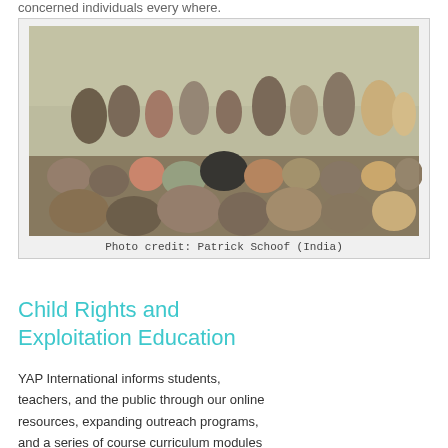concerned individuals every where.
[Figure (photo): A crowd of children and adults gathered outdoors, many sitting on the ground, appearing to be in an outdoor classroom or gathering in India.]
Photo credit: Patrick Schoof (India)
Child Rights and Exploitation Education
YAP International informs students, teachers, and the public through our online resources, expanding outreach programs, and a series of course curriculum modules for schools. The curriculum modules